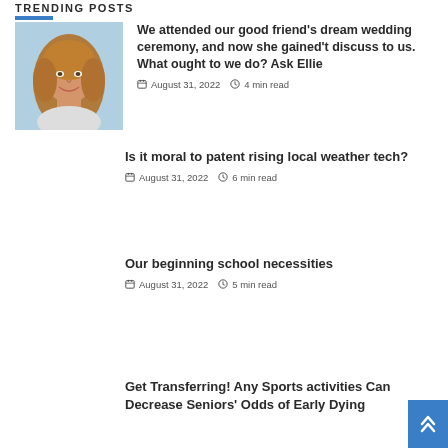TRENDING POSTS
[Figure (photo): Headshot of a smiling woman with long blonde hair]
We attended our good friend's dream wedding ceremony, and now she gained't discuss to us. What ought to we do? Ask Ellie
August 31, 2022  4 min read
Is it moral to patent rising local weather tech?
August 31, 2022  6 min read
Our beginning school necessities
August 31, 2022  5 min read
Get Transferring! Any Sports activities Can Decrease Seniors' Odds of Early Dying